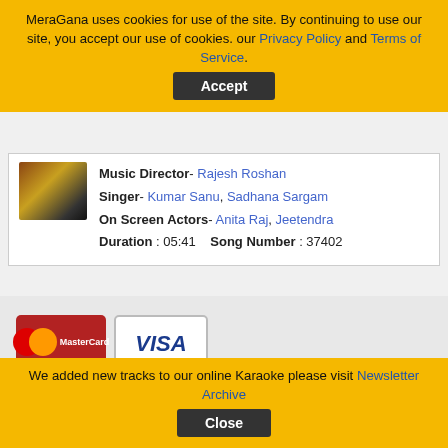MeraGana uses cookies for use of the site. By continuing to use our site, you accept our use of cookies. our Privacy Policy and Terms of Service.
Music Director- Rajesh Roshan
Singer- Kumar Sanu, Sadhana Sargam
On Screen Actors- Anita Raj, Jeetendra
Duration : 05:41   Song Number : 37402
[Figure (logo): Payment icons: MasterCard, Visa, 2CO, PayPal]
Terms of Service | Privacy Policy| Newsletter Archive
If you believe that any material held in by us infringes your copyright please follow the guidance in our Notice and Take Down policy.
We added new tracks to our online Karaoke please visit Newsletter Archive